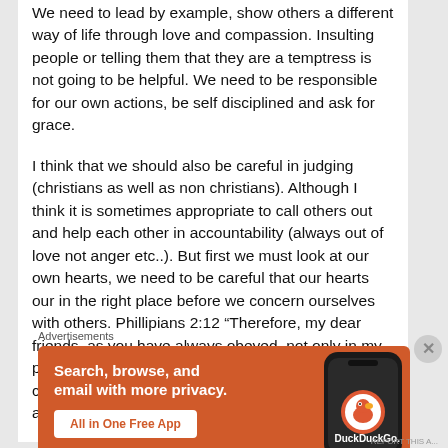We need to lead by example, show others a different way of life through love and compassion. Insulting people or telling them that they are a temptress is not going to be helpful. We need to be responsible for our own actions, be self disciplined and ask for grace.
I think that we should also be careful in judging (christians as well as non christians). Although I think it is sometimes appropriate to call others out and help each other in accountability (always out of love not anger etc..). But first we must look at our own hearts, we need to be careful that our hearts our in the right place before we concern ourselves with others. Phillipians 2:12 “Therefore, my dear friends, as you have always obeyed–not only in my presence, but now much more in my absence–continue to work out YOUR OWN salvation with fear and trembling..”
Advertisements
[Figure (infographic): DuckDuckGo advertisement banner with orange background. Text: 'Search, browse, and email with more privacy. All in One Free App'. Shows a smartphone with DuckDuckGo logo and branding.]